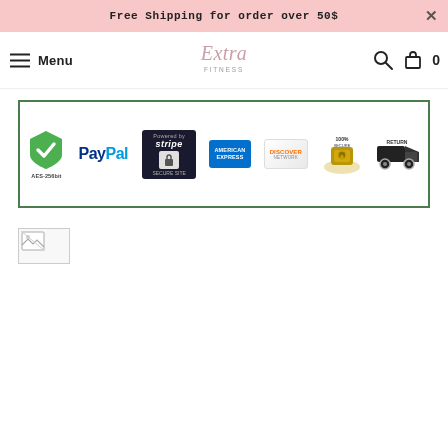Free Shipping for order over 50$
[Figure (screenshot): Navigation bar with hamburger menu icon, 'Menu' label, Extra Fitness script logo, search icon, and cart icon with count 0]
[Figure (infographic): Payment and security trust badges in a green-bordered box: AES-256bit SSL, PayPal, Stripe Secure Site, American Express, Discover Network, 100% Secure padlock, Return truck icon]
[Figure (photo): Broken image placeholder icon in top-left corner of a bordered box]